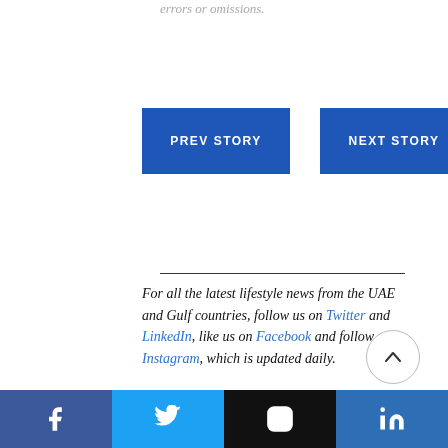errors or omissions.
PREV STORY
NEXT STORY
For all the latest lifestyle news from the UAE and Gulf countries, follow us on Twitter and LinkedIn, like us on Facebook and follow us on Instagram, which is updated daily.